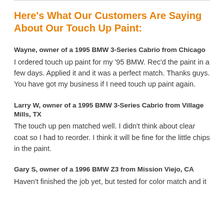Here's What Our Customers Are Saying About Our Touch Up Paint:
Wayne, owner of a 1995 BMW 3-Series Cabrio from Chicago
I ordered touch up paint for my '95 BMW. Rec'd the paint in a few days. Applied it and it was a perfect match. Thanks guys. You have got my business if I need touch up paint again.
Larry W, owner of a 1995 BMW 3-Series Cabrio from Village Mills, TX
The touch up pen matched well. I didn't think about clear coat so I had to reorder. I think it will be fine for the little chips in the paint.
Gary S, owner of a 1996 BMW Z3 from Mission Viejo, CA
Haven't finished the job yet, but tested for color match and it